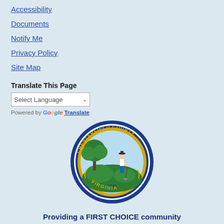Accessibility
Documents
Notify Me
Privacy Policy
Site Map
Translate This Page
Select Language [dropdown] Powered by Google Translate
[Figure (logo): Chesterfield County Virginia official seal, circular with blue border, gold text reading CHESTERFIELD COUNTY around top, VIRGINIA around bottom, 1749 at center bottom, green hill with large tree and farmer figure in center]
Providing a FIRST CHOICE community through excellence in public service